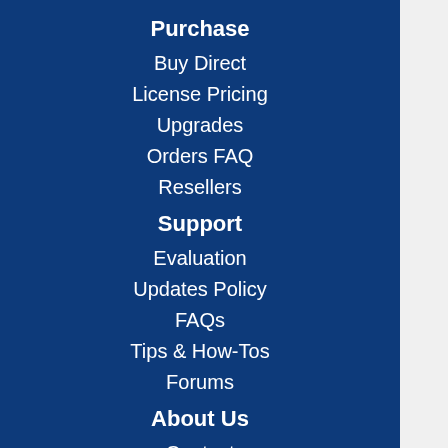Purchase
Buy Direct
License Pricing
Upgrades
Orders FAQ
Resellers
Support
Evaluation
Updates Policy
FAQs
Tips & How-Tos
Forums
About Us
Contact
Press Releases
What's New